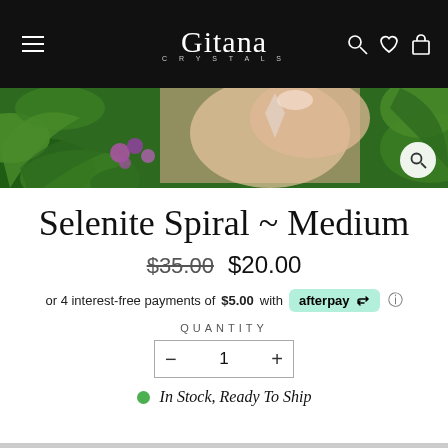Gitana Crystals — navigation bar with hamburger menu, logo, search/wishlist/cart icons
[Figure (photo): Hero banner showing a hand holding a crystal over green tropical leaves and purple flowers]
Selenite Spiral ~ Medium
$35.00  $20.00 (original price struck through, sale price shown)
or 4 interest-free payments of $5.00 with afterpay
QUANTITY
− 1 +
In Stock, Ready To Ship